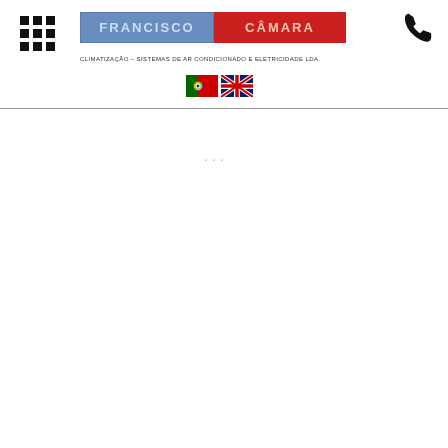[Figure (logo): 3x3 grid icon in black squares]
Francisco Câmara
Climatização – Sistemas de Ar Condicionado e Eletricidade Lda.
[Figure (illustration): Phone icon (handset) in black]
[Figure (illustration): Portuguese flag and UK flag icons for language selection]
...